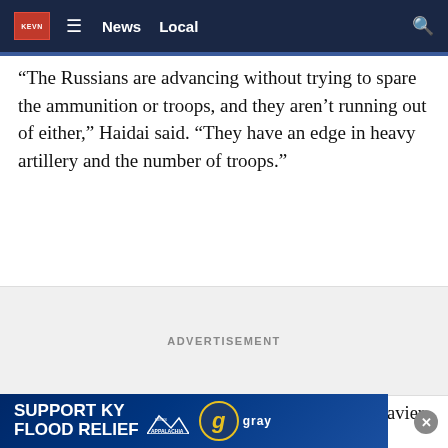KEVN | News | Local
“The Russians are advancing without trying to spare the ammunition or troops, and they aren’t running out of either,” Haidai said. “They have an edge in heavy artillery and the number of troops.”
ADVERTISEMENT
After repeated requests to its Western allies for heavier weaponry to counter Russia’s edge in firepower, Ukrainian Defense Minister Oleksii Reznikov said a response had arrived in the form of the medium-range American rocket launche...
[Figure (infographic): KEVN banner ad: SUPPORT KY FLOOD RELIEF with Appalachia Rises mountain logo and gray television network logo]